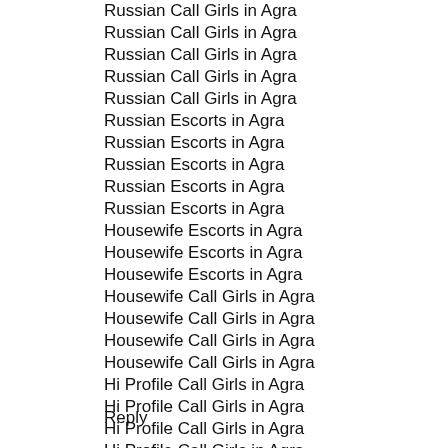Russian Call Girls in Agra
Russian Call Girls in Agra
Russian Call Girls in Agra
Russian Call Girls in Agra
Russian Call Girls in Agra
Russian Escorts in Agra
Russian Escorts in Agra
Russian Escorts in Agra
Russian Escorts in Agra
Russian Escorts in Agra
Housewife Escorts in Agra
Housewife Escorts in Agra
Housewife Escorts in Agra
Housewife Call Girls in Agra
Housewife Call Girls in Agra
Housewife Call Girls in Agra
Housewife Call Girls in Agra
Hi Profile Call Girls in Agra
Hi Profile Call Girls in Agra
Hi Profile Call Girls in Agra
Hi Profile Call Girls in Agra
Reply